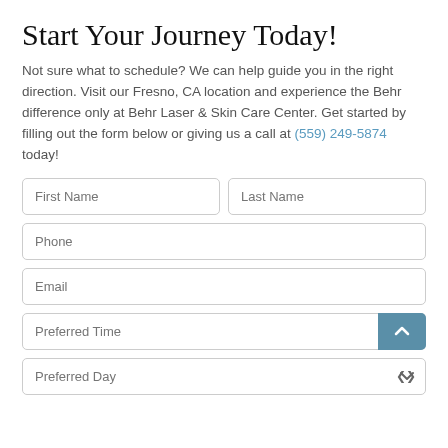Start Your Journey Today!
Not sure what to schedule? We can help guide you in the right direction. Visit our Fresno, CA location and experience the Behr difference only at Behr Laser & Skin Care Center. Get started by filling out the form below or giving us a call at (559) 249-5874 today!
[Figure (other): Contact form with fields: First Name, Last Name, Phone, Email, Preferred Time (with blue arrow button), Preferred Day (dropdown)]